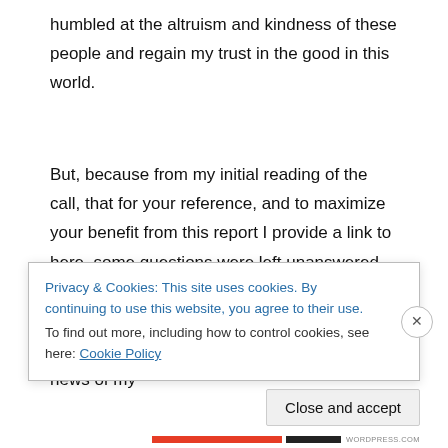humbled at the altruism and kindness of these people and regain my trust in the good in this world.
But, because from my initial reading of the call, that for your reference, and to maximize your benefit from this report I provide a link to here, some questions were left unanswered, after thanking them for this opportunity, I proceeded in asking them to clarify some grey areas. Here is my e-mail responding to the news of my
Privacy & Cookies: This site uses cookies. By continuing to use this website, you agree to their use.
To find out more, including how to control cookies, see here: Cookie Policy
Close and accept